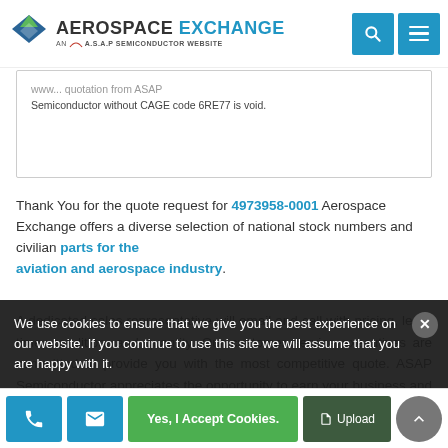AEROSPACE EXCHANGE — AN A.S.A.P SEMICONDUCTOR WEBSITE
...quotation from ASAP Semiconductor without CAGE code 6RE77 is void.
Thank You for the quote request for 4973958-0001 Aerospace Exchange offers a diverse selection of national stock numbers and civilian parts for the aviation and aerospace industry.
A dedicated sales representative will email and call with pricing, lead-time, condition, and quantity. Our customer service executives are committed to provide you with the most competitive quote. ASAP Semiconductor appreciates the opportunity to earn your business and please do not hesitate to contact us for any other
We use cookies to ensure that we give you the best experience on our website. If you continue to use this site we will assume that you are happy with it.
Yes, I Accept Cookies. | Upload